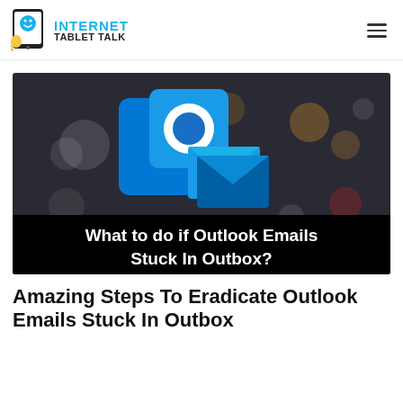Internet Tablet Talk
[Figure (screenshot): Microsoft Outlook logo (blue square with white O and blue envelope) on a dark bokeh background, with a black banner at the bottom reading: What to do if Outlook Emails Stuck In Outbox?]
Amazing Steps To Eradicate Outlook Emails Stuck In Outbox